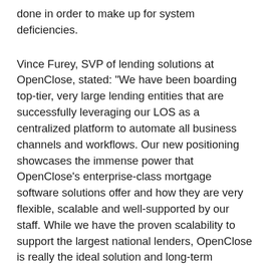done in order to make up for system deficiencies.
Vince Furey, SVP of lending solutions at OpenClose, stated: "We have been boarding top-tier, very large lending entities that are successfully leveraging our LOS as a centralized platform to automate all business channels and workflows. Our new positioning showcases the immense power that OpenClose's enterprise-class mortgage software solutions offer and how they are very flexible, scalable and well-supported by our staff. While we have the proven scalability to support the largest national lenders, OpenClose is really the ideal solution and long-term technology partner for any size lending organization."